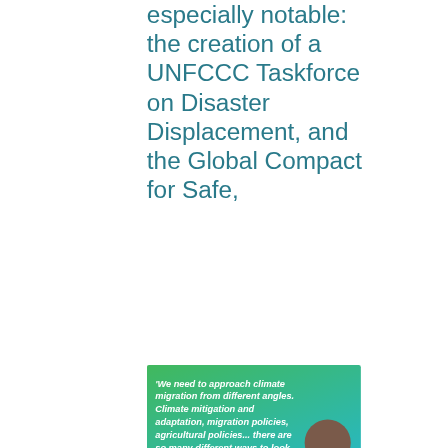especially notable: the creation of a UNFCCC Taskforce on Disaster Displacement, and the Global Compact for Safe,
[Figure (infographic): Quote graphic with green-to-blue gradient background. Quote text reads: 'We need to approach climate migration from different angles. Climate mitigation and adaptation, migration policies, agricultural policies... there are so many different ways to look at this.' Attributed to Marion Traore Chassinat. Features a circular portrait photo of the speaker. Bottom has event branding for Climate Change and Migration event and logos.]
Orderly, and Regular Migration, the first international agreement setting out objectives and commitments to respect when managing
This site uses cookies. By continuing to browse the site, you are agreeing to our use of cookies.